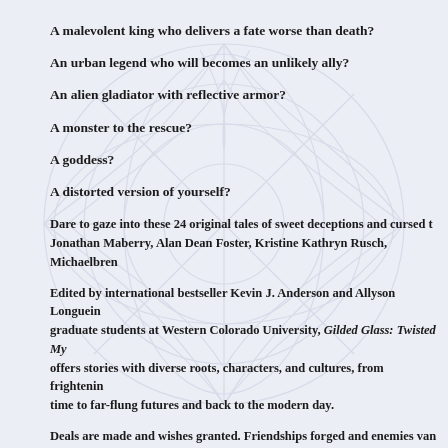A malevolent king who delivers a fate worse than death?
An urban legend who will becomes an unlikely ally?
An alien gladiator with reflective armor?
A monster to the rescue?
A goddess?
A distorted version of yourself?
Dare to gaze into these 24 original tales of sweet deceptions and cursed t... Jonathan Maberry, Alan Dean Foster, Kristine Kathryn Rusch, Michaelbren...
Edited by international bestseller Kevin J. Anderson and Allyson Longuein... graduate students at Western Colorado University, Gilded Glass: Twisted My... offers stories with diverse roots, characters, and cultures, from frightenin... time to far-flung futures and back to the modern day.
Deals are made and wishes granted. Friendships forged and enemies van... anthology of modern myths, lore, and fairy tales, because everyone enjoys...